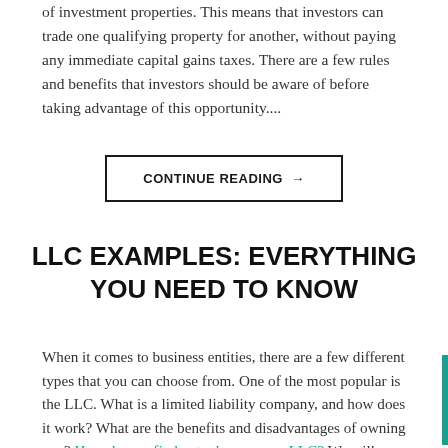of investment properties. This means that investors can trade one qualifying property for another, without paying any immediate capital gains taxes. There are a few rules and benefits that investors should be aware of before taking advantage of this opportunity....
CONTINUE READING →
LLC EXAMPLES: EVERYTHING YOU NEED TO KNOW
When it comes to business entities, there are a few different types that you can choose from. One of the most popular is the LLC. What is a limited liability company, and how does it work? What are the benefits and disadvantages of owning one? How do you find out who owns an LLC? We will answer all of these questions in this